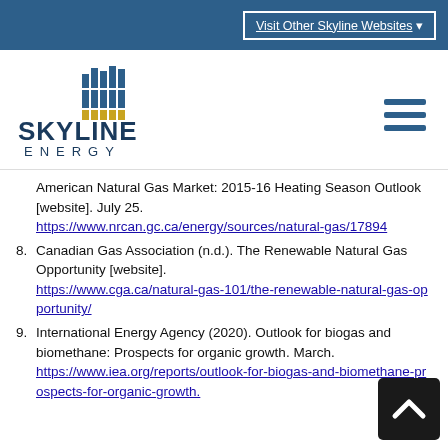Visit Other Skyline Websites
[Figure (logo): Skyline Energy logo with blue grid/bar chart icon and gold bars at bottom, text SKYLINE ENERGY]
American Natural Gas Market: 2015-16 Heating Season Outlook [website]. July 25. https://www.nrcan.gc.ca/energy/sources/natural-gas/17894
8. Canadian Gas Association (n.d.). The Renewable Natural Gas Opportunity [website]. https://www.cga.ca/natural-gas-101/the-renewable-natural-gas-opportunity/
9. International Energy Agency (2020). Outlook for biogas and biomethane: Prospects for organic growth. March. https://www.iea.org/reports/outlook-for-biogas-and-biomethane-prospects-for-organic-growth.